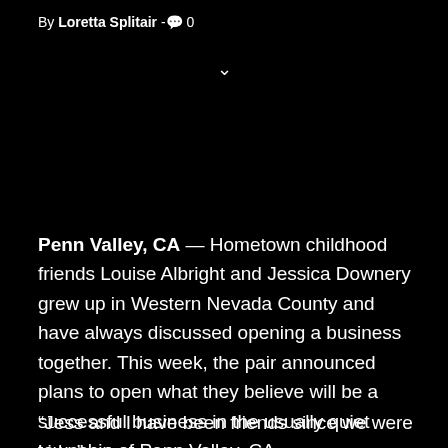By Loretta Splitair - 💬 0
Penn Valley, CA — Hometown childhood friends Louise Albright and Jessica Downery grew up in Western Nevada County and have always discussed opening a business together. This week, the pair announced plans to open what they believe will be a successful business in the usually quiet township of Penn Valley, CA.
“Jess and I have been friends since we were kids,”